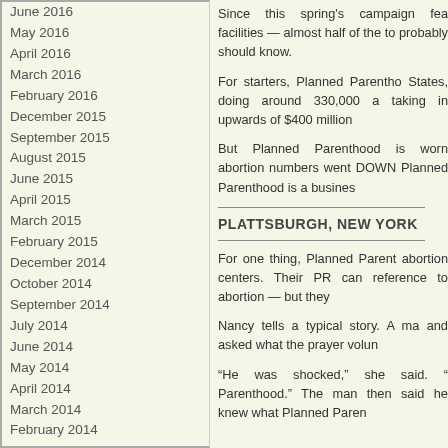June 2016
May 2016
April 2016
March 2016
February 2016
December 2015
September 2015
August 2015
June 2015
April 2015
March 2015
February 2015
December 2014
October 2014
September 2014
July 2014
June 2014
May 2014
April 2014
March 2014
February 2014
January 2014
December 2013
November 2013
August 2013
July 2013
June 2013
May 2013
April 2013
March 2013
February 2013
January 2013
May 2012
Since this spring's campaign fea facilities — almost half of the to probably should know.
For starters, Planned Parentho States, doing around 330,000 a taking in upwards of $400 million
But Planned Parenthood is worn abortion numbers went DOWN Planned Parenthood is a busines
PLATTSBURGH, NEW YORK
For one thing, Planned Parent abortion centers. Their PR can reference to abortion — but they
Nancy tells a typical story. A ma and asked what the prayer volun
“He was shocked,” she said. “ Parenthood.” The man then said he knew what Planned Paren